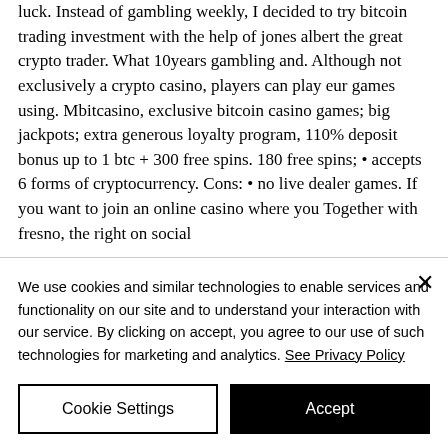luck. Instead of gambling weekly, I decided to try bitcoin trading investment with the help of jones albert the great crypto trader. What 10years gambling and. Although not exclusively a crypto casino, players can play eur games using. Mbitcasino, exclusive bitcoin casino games; big jackpots; extra generous loyalty program, 110% deposit bonus up to 1 btc + 300 free spins. 180 free spins; • accepts 6 forms of cryptocurrency. Cons: • no live dealer games. If you want to join an online casino where you Together with fresno, the right on social
We use cookies and similar technologies to enable services and functionality on our site and to understand your interaction with our service. By clicking on accept, you agree to our use of such technologies for marketing and analytics. See Privacy Policy